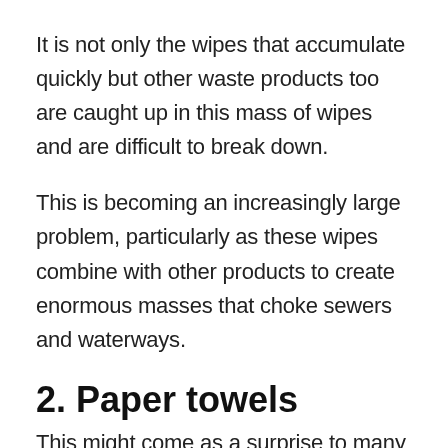It is not only the wipes that accumulate quickly but other waste products too are caught up in this mass of wipes and are difficult to break down.
This is becoming an increasingly large problem, particularly as these wipes combine with other products to create enormous masses that choke sewers and waterways.
2. Paper towels
This might come as a surprise to many people; after all, aren't these towels just made of paper? This is true, but it is a